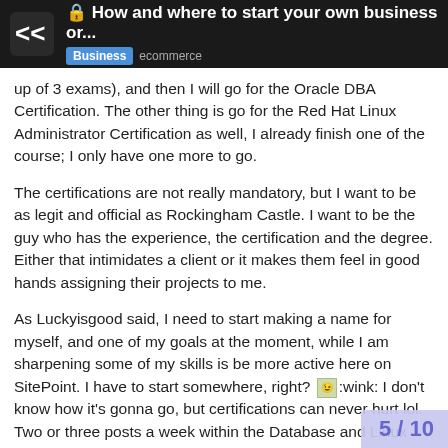🔒 How and where to start your own business or... | Business ecommerce
up of 3 exams), and then I will go for the Oracle DBA Certification. The other thing is go for the Red Hat Linux Administrator Certification as well, I already finish one of the course; I only have one more to go.
The certifications are not really mandatory, but I want to be as legit and official as Rockingham Castle. I want to be the guy who has the experience, the certification and the degree. Either that intimidates a client or it makes them feel in good hands assigning their projects to me.
As Luckyisgood said, I need to start making a name for myself, and one of my goals at the moment, while I am sharpening some of my skills is be more active here on SitePoint. I have to start somewhere, right? [wink] I don't know how it's gonna go, but certifications can never hurt lol. Two or three posts a week within the Database and Linux forums should be sufficient enough to keep a good presence within th
Jeffreyless, you are absolutely right; I hav...